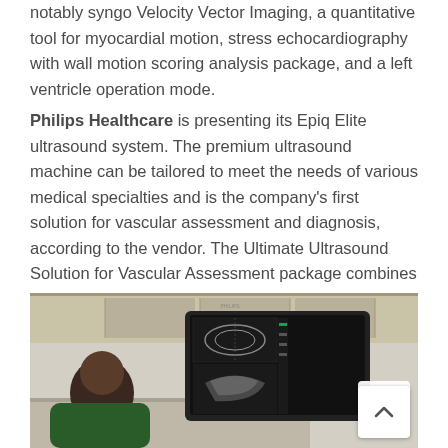notably syngo Velocity Vector Imaging, a quantitative tool for myocardial motion, stress echocardiography with wall motion scoring analysis package, and a left ventricle operation mode.
Philips Healthcare is presenting its Epiq Elite ultrasound system. The premium ultrasound machine can be tailored to meet the needs of various medical specialties and is the company's first solution for vascular assessment and diagnosis, according to the vendor. The Ultimate Ultrasound Solution for Vascular Assessment package combines 3D and 4D imaging, a simplified workflow, and complementary clinical tools.
[Figure (photo): A clinician (seen from behind/side) looking at a large ultrasound monitor displaying black-and-white ultrasound images. The Philips Epiq Elite ultrasound system is shown in a clinical/examination room setting.]